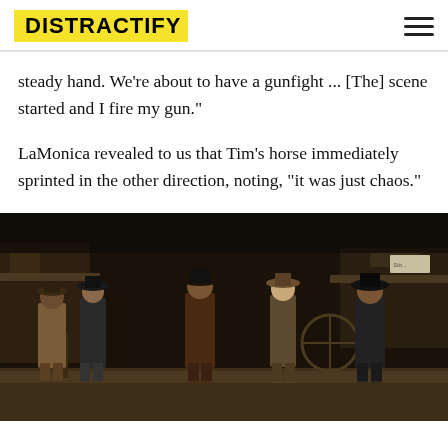DISTRACTIFY
steady hand. We're about to have a gunfight ... [The] scene started and I fire my gun."
LaMonica revealed to us that Tim's horse immediately sprinted in the other direction, noting, "it was just chaos."
[Figure (photo): Five actors dressed as cowboys in western attire walking side by side on a dusty western town street at night, from the TV show or movie set.]